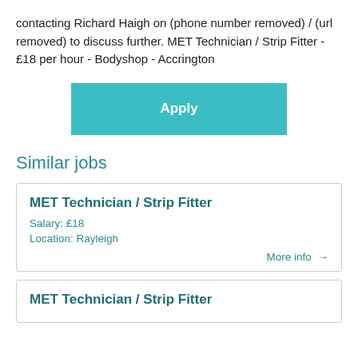contacting Richard Haigh on (phone number removed) / (url removed) to discuss further. MET Technician / Strip Fitter - £18 per hour - Bodyshop - Accrington
[Figure (other): Teal/cyan Apply button]
Similar jobs
MET Technician / Strip Fitter
Salary: £18
Location: Rayleigh
More info →
MET Technician / Strip Fitter